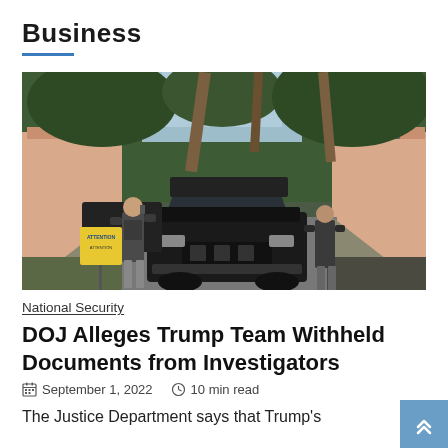Business
[Figure (photo): Two armed federal agents flanking a black SUV at the gated entrance of a property surrounded by palm trees and pink stucco pillars. A yellow caution sign is visible on the left.]
National Security
DOJ Alleges Trump Team Withheld Documents from Investigators
September 1, 2022  10 min read
The Justice Department says that Trump's